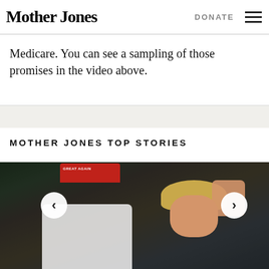Mother Jones | DONATE
Medicare. You can see a sampling of those promises in the video above.
MOTHER JONES TOP STORIES
[Figure (photo): Two people sitting together: a man on the left wearing a red MAGA cap and white polo shirt with Trump branding, pointing to his right; a woman on the right with blonde hair wearing a blue outfit, smiling and waving at the camera. Dark background suggesting an indoor or shaded venue.]